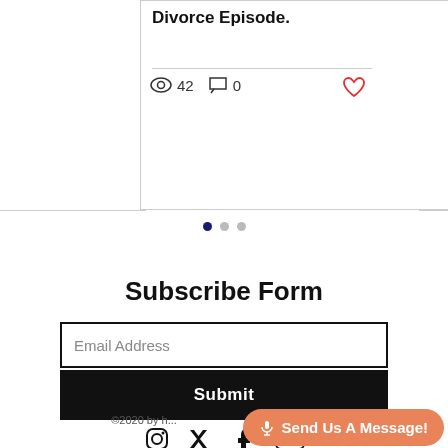Divorce Episode.
42  0
[Figure (other): Carousel pagination dots: three dots with first dot active (dark navy), second and third dots grey]
Subscribe Form
Email Address
Submit
[Figure (other): Social media icons row: Instagram, Twitter, Facebook, YouTube — all black]
©2020 by h...
🎤 Send Us A Message!